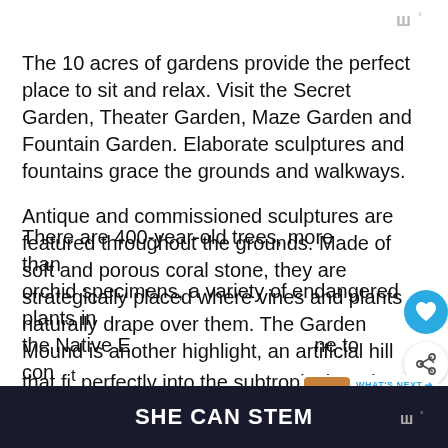w°
The 10 acres of gardens provide the perfect place to sit and relax. Visit the Secret Garden, Theater Garden, Maze Garden and Fountain Garden. Elaborate sculptures and fountains grace the grounds and walkways.
Antique and commissioned sculptures are featured throughout the grounds. Made of soft and porous coral stone, they are strategically placed where vines and plants naturally drape over them. The Garden Mound is another highlight, an artificial hill that fits perfectly into the subtropical gardens.
There are 400-year-old trees, more than orchid specimens, a variety of endangered plants in the Native Ecosystem and there are some online to con...
SHE CAN STEM